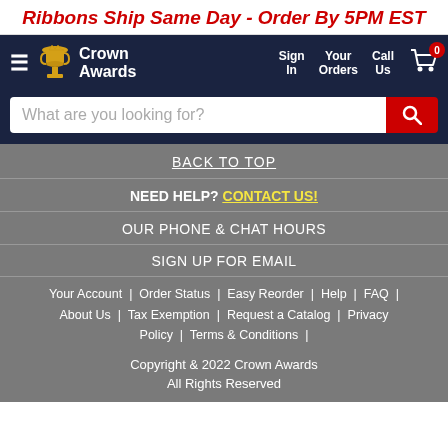Ribbons Ship Same Day - Order By 5PM EST
[Figure (screenshot): Crown Awards logo with trophy icon, navigation links: Sign In, Your Orders, Call Us, and cart icon with badge 0]
What are you looking for?
BACK TO TOP
NEED HELP? CONTACT US!
OUR PHONE & CHAT HOURS
SIGN UP FOR EMAIL
Your Account  |  Order Status  |  Easy Reorder  |  Help  |  FAQ  |  About Us  |  Tax Exemption  |  Request a Catalog  |  Privacy Policy  |  Terms & Conditions  |
Copyright & 2022 Crown Awards
All Rights Reserved